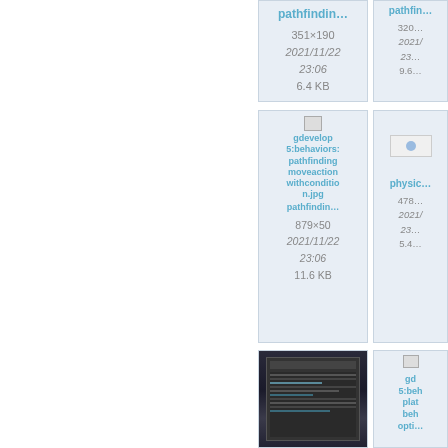[Figure (screenshot): File card partially visible at top right showing pathfindin... link, dimensions 351×190, date 2021/11/22 23:06, size 6.4 KB]
[Figure (screenshot): File card showing broken image icon and link to gdevelop5:behaviors:pathfindingmoveactionwithcondition.jpg, pathfindin... label, dimensions 879×50, date 2021/11/22 23:06, size 11.6 KB]
[Figure (screenshot): File card partially visible at second row right showing physic... link, dimensions 478×..., date 2021/..., 23:..., size 5.4... KB]
[Figure (screenshot): File card at bottom left showing dark screenshot thumbnail image]
[Figure (screenshot): File card partially visible at bottom right showing gd 5:beh plat beh opti... links]